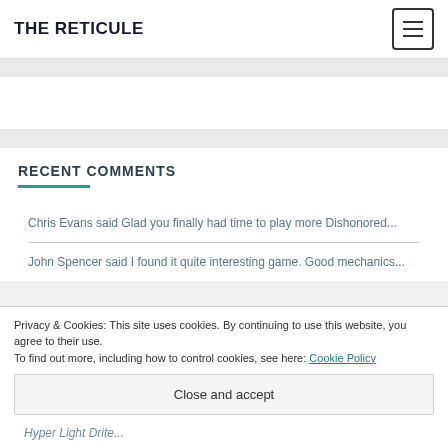THE RETICULE
RECENT COMMENTS
Chris Evans said Glad you finally had time to play more Dishonored...
John Spencer said I found it quite interesting game. Good mechanics...
Privacy & Cookies: This site uses cookies. By continuing to use this website, you agree to their use.
To find out more, including how to control cookies, see here: Cookie Policy
Close and accept
Hyper Light Drite...